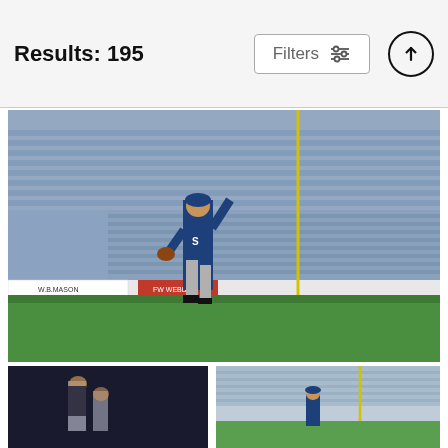Results: 195
Filters
[Figure (photo): Baseball player Ichiro Suzuki in Seattle Mariners uniform at a stadium, raising one hand, with stadium seating and outfield wall advertisements visible including W.B. Mason, FW Webb, and others.]
Ichiro Suzuki
Mike Stobe
$9.62
[Figure (photo): Dark photo of a baseball player, partially visible, dark background.]
[Figure (photo): Baseball player at a stadium with blue seating visible, yellow foul pole, and a person in Mariners uniform.]